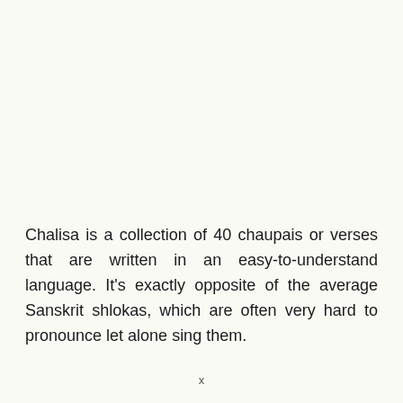Chalisa is a collection of 40 chaupais or verses that are written in an easy-to-understand language. It's exactly opposite of the average Sanskrit shlokas, which are often very hard to pronounce let alone sing them.
x